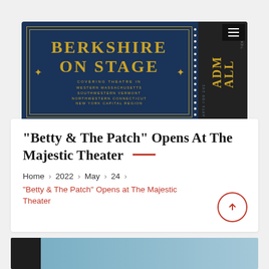[Figure (logo): Berkshire On Stage header banner — dark navy ticket design with gold text reading 'BERKSHIRE ON STAGE', subtitle 'COVERING THEATRE IN WESTERN MASSACHUSETTS SOUTHWESTERN VERMONT NORTHWESTERN CONNECTICUT NEW YORK CAPITAL REGION', with a perforated stub section and hamburger menu icon]
“Betty & The Patch” Opens At The Majestic Theater
Home > 2022 > May > 24 > “Betty & The Patch” Opens at The Majestic Theater
[Figure (photo): Bottom strip showing partial photo — dark section on left and light blue/teal section on right]